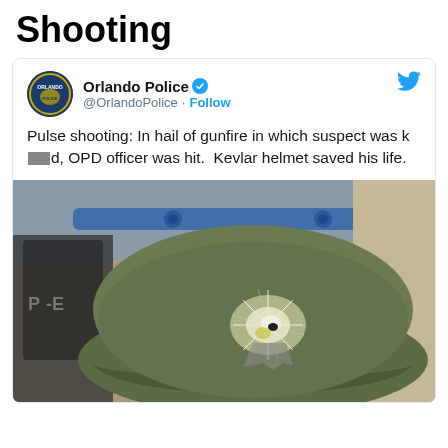Shooting
[Figure (screenshot): Tweet from Orlando Police (@OrlandoPolice) with verified badge and Follow link. Tweet text: 'Pulse shooting: In hail of gunfire in which suspect was k[redacted]d, OPD officer was hit. Kevlar helmet saved his life.' Below the tweet text is a photograph of a green Kevlar helmet with a bullet impact/damage mark on the front surface.]
Pulse shooting: In hail of gunfire in which suspect was k[redacted]d, OPD officer was hit.  Kevlar helmet saved his life.